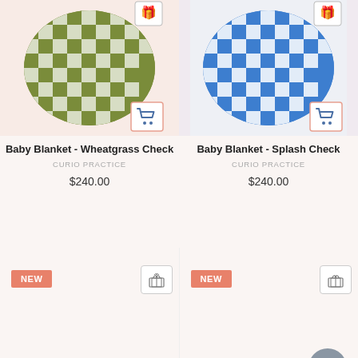[Figure (photo): Green and white checkered baby blanket on pink background with cart button]
Baby Blanket - Wheatgrass Check
CURIO PRACTICE
$240.00
[Figure (photo): Blue and white checkered baby blanket on light background with cart button]
Baby Blanket - Splash Check
CURIO PRACTICE
$240.00
[Figure (photo): New product placeholder - left column with NEW badge and gift/cart icons]
[Figure (photo): New product placeholder - right column with NEW badge, gift/cart icons, and chat bubble]